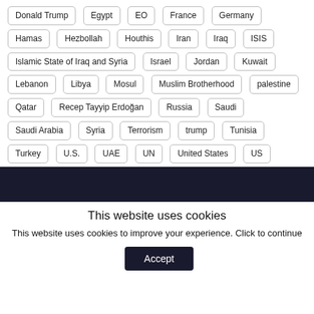Donald Trump | Egypt | EO | France | Germany | Hamas | Hezbollah | Houthis | Iran | Iraq | ISIS | Islamic State of Iraq and Syria | Israel | Jordan | Kuwait | Lebanon | Libya | Mosul | Muslim Brotherhood | palestine | Qatar | Recep Tayyip Erdoğan | Russia | Saudi | Saudi Arabia | Syria | Terrorism | trump | Tunisia | Turkey | U.S. | UAE | UN | United States | US | Yemen
This website uses cookies
This website uses cookies to improve your experience. Click to continue
Accept